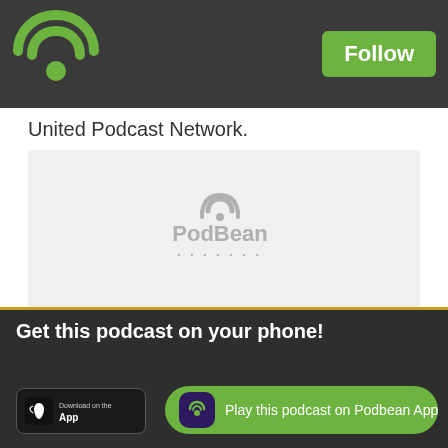[Figure (logo): Green WiFi/podcast icon in dark header bar]
Follow
United Podcast Network.
[Figure (screenshot): PodBean audio player embed with gray background and PodBean logo]
Likes  Share  Download(293)
« Older episodes
Search
Get this podcast on your phone!
Play this podcast on Podbean App